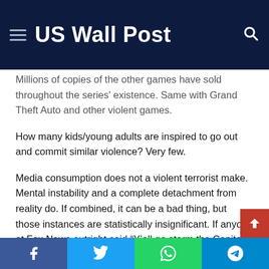US Wall Post
Millions of copies of the other games have sold throughout the series' existence. Same with Grand Theft Auto and other violent games.
How many kids/young adults are inspired to go out and commit similar violence? Very few.
Media consumption does not a violent terrorist make. Mental instability and a complete detachment from reality do. If combined, it can be a bad thing, but those instances are statistically insignificant. If anyone at Fox News outright said “Y’all go storm the Capitol building and threaten to hang Mike Pence,” and that person was not
Facebook | Twitter | WhatsApp | Telegram